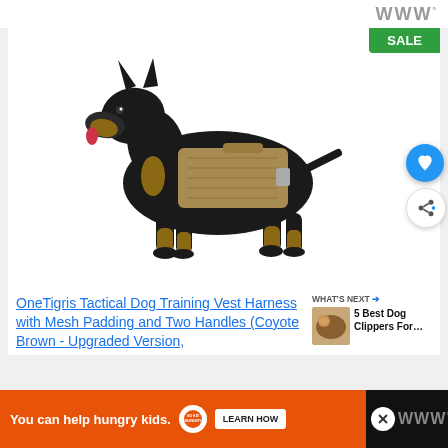WWº
[Figure (photo): A black and tan Doberman dog wearing a coyote brown tactical vest/harness, standing in profile facing left, on a white background. A green SALE badge is shown in the top-right corner of the product card.]
OneTigris Tactical Dog Training Vest Harness with Mesh Padding and Two Handles (Coyote Brown - Upgraded Version,
WHAT'S NEXT → 5 Best Dog Clippers For…
[Figure (photo): Small thumbnail image for 'What's Next' section showing a close-up of a dog being groomed]
You can help hungry kids.  NO KID HUNGRY  LEARN HOW